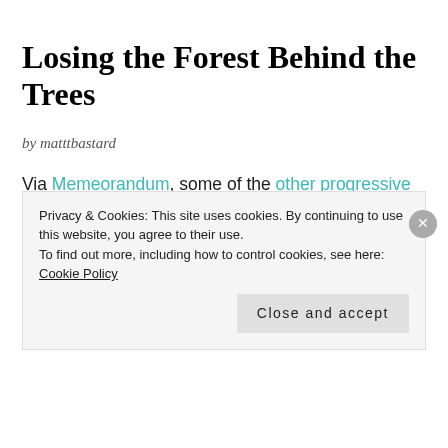Losing the Forest Behind the Trees
by matttbastard
Via Memeorandum, some of the other progressive bloggers highlighting McHenry's statement seem to be primarily concerned with how the Dem0cratic leadership in Congress can use the GOP's apparent lack of 'discipline' to partisan advantage. Yeah, um, so what does the obstruction uber alles strategy mean for the economic
Privacy & Cookies: This site uses cookies. By continuing to use this website, you agree to their use. To find out more, including how to control cookies, see here: Cookie Policy
Close and accept